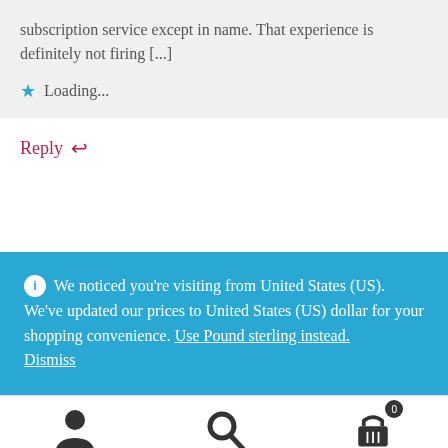subscription service except in name. That experience is definitely not firing [...]
Loading...
Reply
We noticed you're visiting from United States (US). We've updated our prices to United States (US) dollar for your shopping convenience. Use Pound sterling instead. Dismiss
[Figure (infographic): Bottom navigation bar with user icon, search icon, and cart icon with badge showing 0]